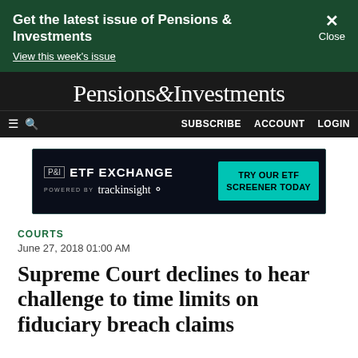Get the latest issue of Pensions & Investments
View this week's issue
Pensions&Investments
SUBSCRIBE   ACCOUNT   LOGIN
[Figure (other): P&I ETF EXCHANGE powered by trackinsight - TRY OUR ETF SCREENER TODAY advertisement banner]
COURTS
June 27, 2018 01:00 AM
Supreme Court declines to hear challenge to time limits on fiduciary breach claims